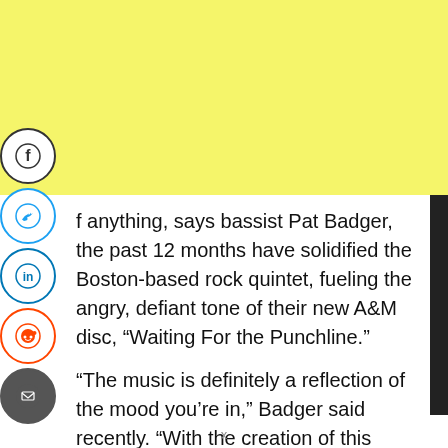[Figure (other): Yellow banner advertisement area at top of page]
[Figure (other): Social media sharing icons: Facebook, Twitter, LinkedIn, Reddit, Email]
If anything, says bassist Pat Badger, the past 12 months have solidified the Boston-based rock quintet, fueling the angry, defiant tone of their new A&M disc, “Waiting For the Punchline.”
“The music is definitely a reflection of the mood you’re in,” Badger said recently. “With the creation of this record, like anything else, it’s kind of a representation of the time in
x